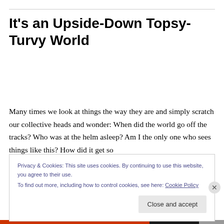It's an Upside-Down Topsy-Turvy World
Many times we look at things the way they are and simply scratch our collective heads and wonder: When did the world go off the tracks? Who was at the helm asleep? Am I the only one who sees things like this? How did it get so
Privacy & Cookies: This site uses cookies. By continuing to use this website, you agree to their use.
To find out more, including how to control cookies, see here: Cookie Policy